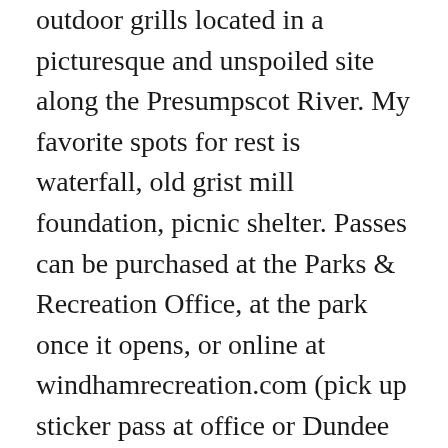outdoor grills located in a picturesque and unspoiled site along the Presumpscot River. My favorite spots for rest is waterfall, old grist mill foundation, picnic shelter. Passes can be purchased at the Parks & Recreation Office, at the park once it opens, or online at windhamrecreation.com (pick up sticker pass at office or Dundee Park if purchased online). Create an Account – Increase your productivity, customize your experience, and engage in information you care about. Restaurants near Dundee Park Restaurants in this area are known for American, Italian, Contemporary American, Steakhouse and Mexican cuisines. Basketball and volleyball courts are also on the premises. Dundee Island